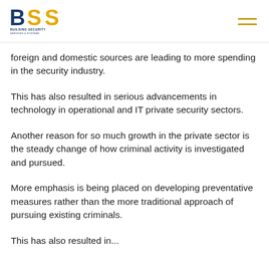BSS Building Security Services & Systems
foreign and domestic sources are leading to more spending in the security industry.
This has also resulted in serious advancements in technology in operational and IT private security sectors.
Another reason for so much growth in the private sector is the steady change of how criminal activity is investigated and pursued.
More emphasis is being placed on developing preventative measures rather than the more traditional approach of pursuing existing criminals.
This has also resulted in...